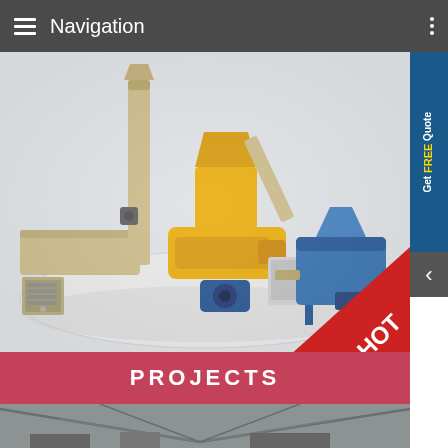Navigation
[Figure (photo): Industrial fish/animal feed extrusion machine set on a white display platform, including a yellow extruder machine, blue motor and hopper unit, beige/tan mixing equipment, and a blue cutting/shredding box. A red HOT badge appears in the bottom-right corner.]
Get FREE Quote
PROJECTS
[Figure (photo): Interior of a large industrial factory or warehouse with steel roof trusses and machinery visible inside.]